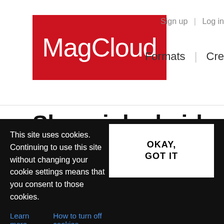[Figure (logo): MagCloud logo — white text on red background]
Sign up | Log in
Formats | Cre...
Shop: inked girls
Print | Digital | Free Digital
This site uses cookies. Continuing to use this site without changing your cookie settings means that you consent to those cookies.
Learn more   How to turn off cookies
OKAY, GOT IT